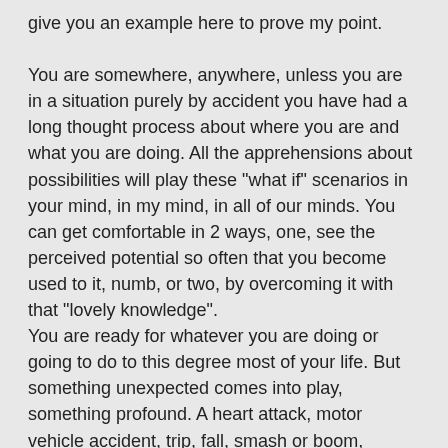give you an example here to prove my point.

You are somewhere, anywhere, unless you are in a situation purely by accident you have had a long thought process about where you are and what you are doing. All the apprehensions about possibilities will play these "what if" scenarios in your mind, in my mind, in all of our minds. You can get comfortable in 2 ways, one, see the perceived potential so often that you become used to it, numb, or two, by overcoming it with that "lovely knowledge".
You are ready for whatever you are doing or going to do to this degree most of your life. But something unexpected comes into play, something profound. A heart attack, motor vehicle accident, trip, fall, smash or boom, illness, something pulls your attention from the mundane to say a stopped heart.
These occurrences will happen to you, we are both clumsy and daring by nature.
What now?
Well firstly panic, the essence of fear, brings with it the